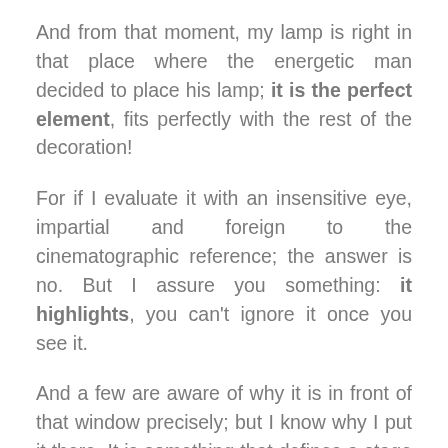And from that moment, my lamp is right in that place where the energetic man decided to place his lamp; it is the perfect element, fits perfectly with the rest of the decoration!
For if I evaluate it with an insensitive eye, impartial and foreign to the cinematographic reference; the answer is no. But I assure you something: it highlights, you can't ignore it once you see it.
And a few are aware of why it is in front of that window precisely; but I know why I put it there. It is something that defines a stage of my life,